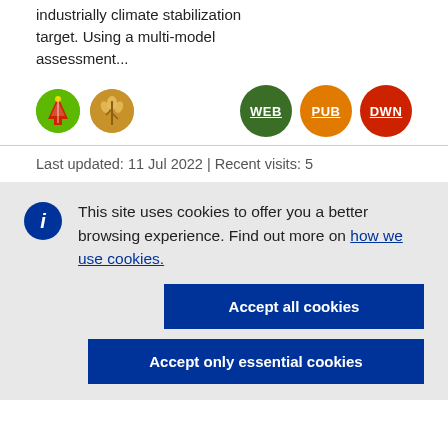industrially climate stabilization target. Using a multi-model assessment...
[Figure (illustration): Two circular icons: green circle with red/white mountain/energy symbol, and gold/brown circle with wheat symbol]
[Figure (illustration): Three circular badge buttons: WEB (dark green), PUB (orange), DWN (red)]
Last updated: 11 Jul 2022 | Recent visits: 5
This site uses cookies to offer you a better browsing experience. Find out more on how we use cookies.
Accept all cookies
Accept only essential cookies